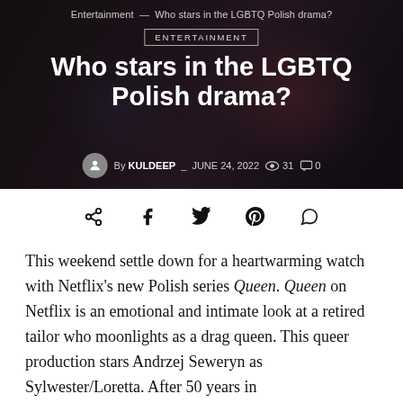Entertainment — Who stars in the LGBTQ Polish drama?
ENTERTAINMENT
Who stars in the LGBTQ Polish drama?
By KULDEEP _ JUNE 24, 2022  👁 31  💬 0
[Figure (other): Social share icons: share, facebook, twitter, pinterest, whatsapp]
This weekend settle down for a heartwarming watch with Netflix's new Polish series Queen. Queen on Netflix is an emotional and intimate look at a retired tailor who moonlights as a drag queen. This queer production stars Andrzej Seweryn as Sylwester/Loretta. After 50 years in